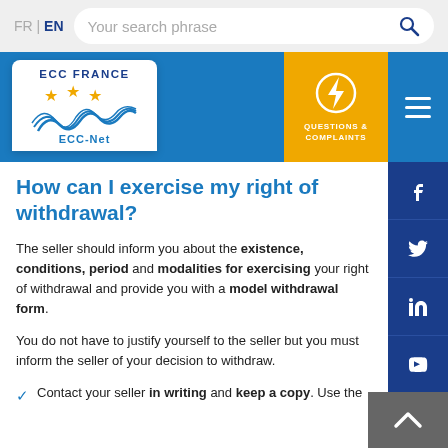FR | EN  Your search phrase
[Figure (logo): ECC France / ECC-Net logo with stars and wave graphic on white card, set in blue navigation bar with Questions & Complaints icon in yellow box and hamburger menu]
How can I exercise my right of withdrawal?
The seller should inform you about the existence, conditions, period and modalities for exercising your right of withdrawal and provide you with a model withdrawal form.
You do not have to justify yourself to the seller but you must inform the seller of your decision to withdraw.
Contact your seller in writing and keep a copy. Use the